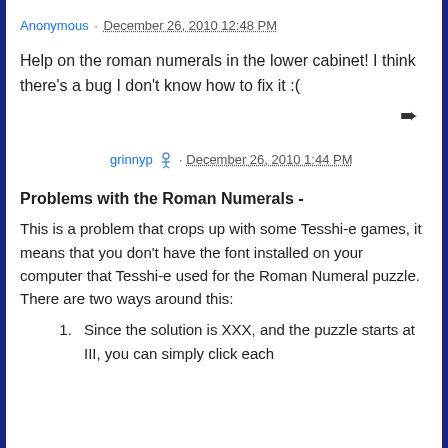Anonymous · December 26, 2010 12:48 PM
Help on the roman numerals in the lower cabinet! I think there's a bug I don't know how to fix it :(
grinnyp [mod icon] · December 26, 2010 1:44 PM
Problems with the Roman Numerals -
This is a problem that crops up with some Tesshi-e games, it means that you don't have the font installed on your computer that Tesshi-e used for the Roman Numeral puzzle. There are two ways around this:
Since the solution is XXX, and the puzzle starts at III, you can simply click each